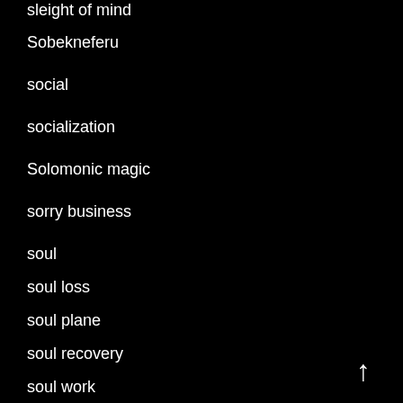sleight of mind
Sobekneferu
social
socialization
Solomonic magic
sorry business
soul
soul loss
soul plane
soul recovery
soul work
sovereignty